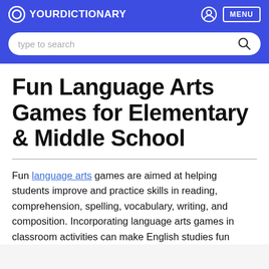YOURDICTIONARY — navigation header with search bar
Fun Language Arts Games for Elementary & Middle School
Fun language arts games are aimed at helping students improve and practice skills in reading, comprehension, spelling, vocabulary, writing, and composition. Incorporating language arts games in classroom activities can make English studies fun